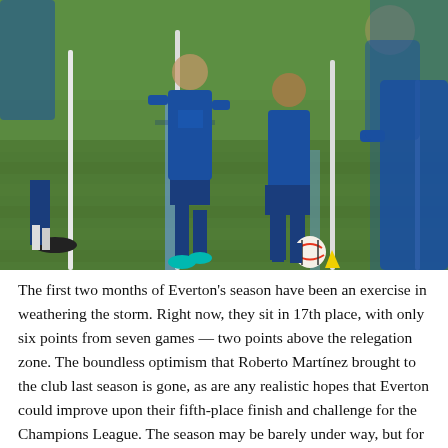[Figure (photo): Football players in blue Everton training kits dribbling through poles on a grass training pitch. A football and yellow cone are visible on the ground.]
The first two months of Everton's season have been an exercise in weathering the storm. Right now, they sit in 17th place, with only six points from seven games — two points above the relegation zone. The boundless optimism that Roberto Martínez brought to the club last season is gone, as are any realistic hopes that Everton could improve upon their fifth-place finish and challenge for the Champions League. The season may be barely under way, but for